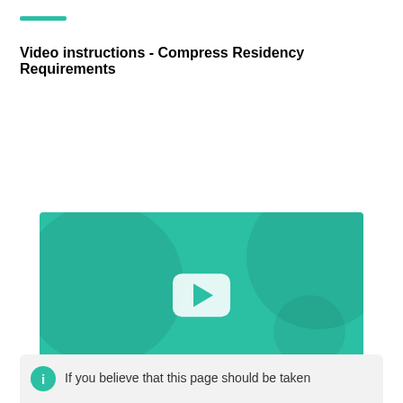Video instructions - Compress Residency Requirements
[Figure (screenshot): A video thumbnail with a teal/green background, play button in the center, and text 'Video instructions' at the bottom left]
If you believe that this page should be taken